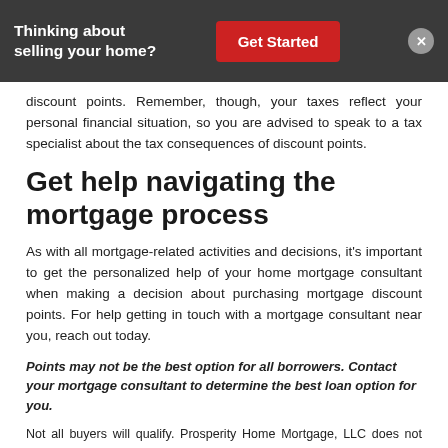Thinking about selling your home? | Get Started
discount points. Remember, though, your taxes reflect your personal financial situation, so you are advised to speak to a tax specialist about the tax consequences of discount points.
Get help navigating the mortgage process
As with all mortgage-related activities and decisions, it’s important to get the personalized help of your home mortgage consultant when making a decision about purchasing mortgage discount points. For help getting in touch with a mortgage consultant near you, reach out today.
Points may not be the best option for all borrowers. Contact your mortgage consultant to determine the best loan option for you.
Not all buyers will qualify. Prosperity Home Mortgage, LLC does not offer financial advice. This information is provided for informational purposes only and does